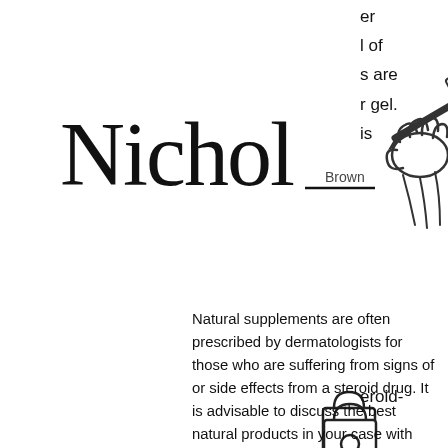[Figure (logo): Nichol signature-style logo with a hand holding a pencil writing 'Brown' underneath, drawn in sketch style]
er
l of
s are
r gel.
is
[Figure (illustration): Shopping bag icon with a lock/padlock on it, and below it a hamburger menu icon (three horizontal lines)]
eroid-
ose of
like
Natural supplements are often prescribed by dermatologists for those who are suffering from signs of or side effects from a steroid drug. It is advisable to discuss the best natural products in your case with your dermatologist. Natural medications for treating acne can be very useful for those who want to decrease the appearance of